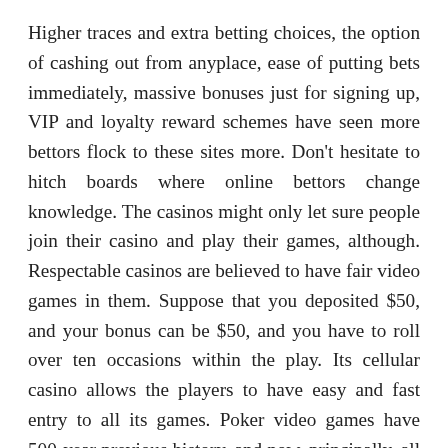Higher traces and extra betting choices, the option of cashing out from anyplace, ease of putting bets immediately, massive bonuses just for signing up, VIP and loyalty reward schemes have seen more bettors flock to these sites more. Don't hesitate to hitch boards where online bettors change knowledge. The casinos might only let sure people join their casino and play their games, although. Respectable casinos are believed to have fair video games in them. Suppose that you deposited $50, and your bonus can be $50, and you have to roll over ten occasions within the play. Its cellular casino allows the players to have easy and fast entry to all its games. Poker video games have 500-year previous history, and now, principally, all the folks play poker online.